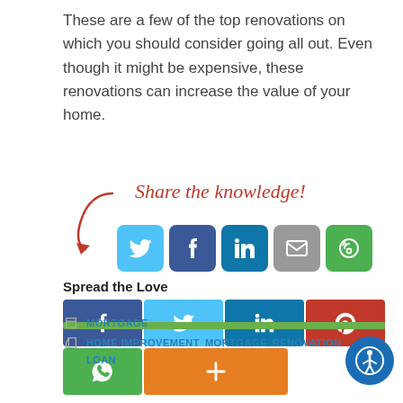These are a few of the top renovations on which you should consider going all out. Even though it might be expensive, these renovations can increase the value of your home.
[Figure (infographic): Share the knowledge! text with a red arrow pointing to social media share icons: Twitter, Facebook, LinkedIn, Email, and a camera/share icon]
Spread the Love
[Figure (infographic): Spread the Love social sharing buttons: Facebook (blue), Twitter (light blue), LinkedIn (dark blue), Pinterest (red), WhatsApp (green), plus button (orange)]
MORTGAGE
HOME IMPROVEMENT  MORTGAGE  RENOVATION LOAN